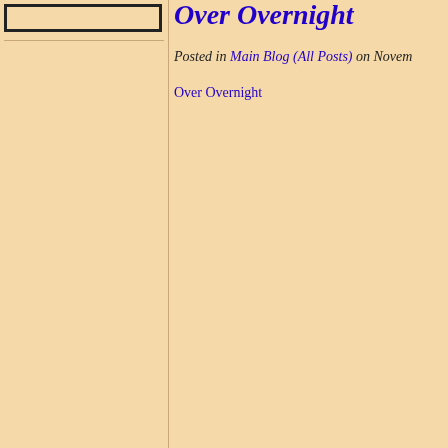Over Overnight
Posted in Main Blog (All Posts) on Novem
Over Overnight